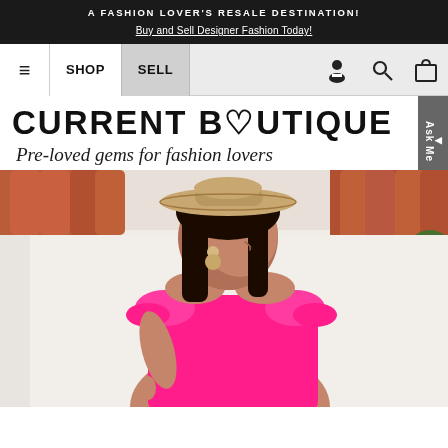A FASHION LOVER'S RESALE DESTINATION! Buy and Sell Designer Fashion Today!
SHOP | SELL
CURRENT BOUTIQUE — Pre-loved gems for fashion lovers
[Figure (photo): Woman wearing a bright pink off-shoulder ruffle dress and wide-brim straw hat, smiling over her shoulder, with terracotta roof tiles and white wall in background.]